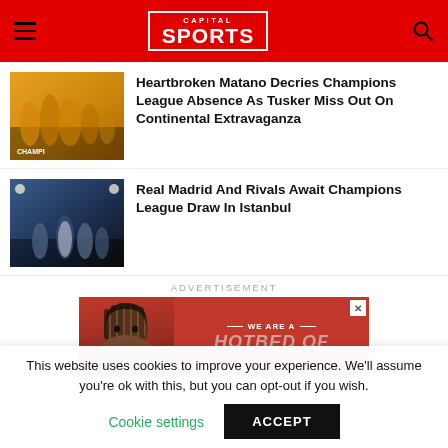Capital Sports
[Figure (photo): Sports team celebrating with trophies, yellow jerseys, banner reading CHAMPIONS]
Heartbroken Matano Decries Champions League Absence As Tusker Miss Out On Continental Extravaganza
[Figure (photo): Real Madrid players celebrating on field at night stadium]
Real Madrid And Rivals Await Champions League Draw In Istanbul
ADVERTISEMENT
[Figure (photo): Advertisement banner: We Are A Hotbed Of... with person's face on red background]
This website uses cookies to improve your experience. We'll assume you're ok with this, but you can opt-out if you wish.
Cookie settings   ACCEPT